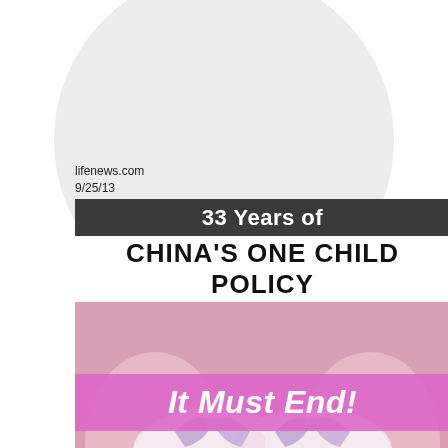lifenews.com
9/25/13
[Figure (infographic): Infographic about 33 Years of China's One Child Policy with pink baby shoes image and 'It Must End!' banner overlay. National Right to Life logo in bottom right corner.]
33 Years of CHINA'S ONE CHILD POLICY
It Must End!